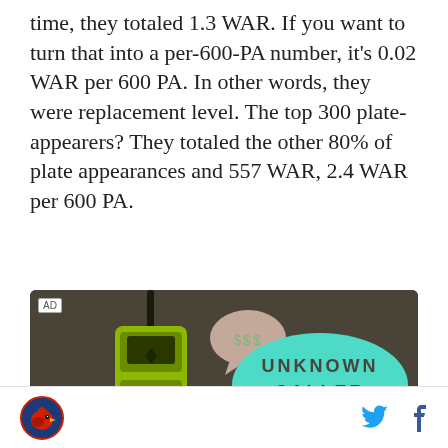time, they totaled 1.3 WAR. If you want to turn that into a per-600-PA number, it's 0.02 WAR per 600 PA. In other words, they were replacement level. The top 300 plate-appearers? They totaled the other 80% of plate appearances and 557 WAR, 2.4 WAR per 600 PA.
[Figure (illustration): Advertisement image showing a retro green brick cell phone with an antenna and speech bubbles. One speech bubble shows '$$$' and a larger teal/cyan bubble reads 'UNKNOWN CALLER' in dotted text. Background is dark olive/brown. AD label in top left corner.]
Logo and social media icons (Twitter, Facebook)